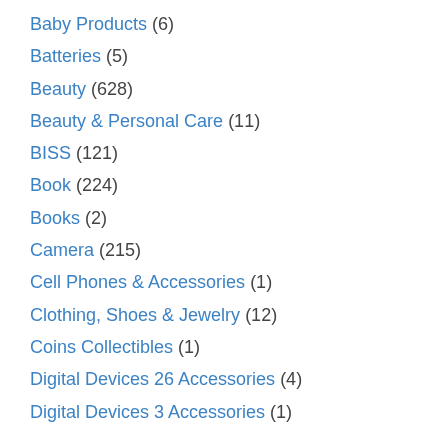Baby Products (6)
Batteries (5)
Beauty (628)
Beauty & Personal Care (11)
BISS (121)
Book (224)
Books (2)
Camera (215)
Cell Phones & Accessories (1)
Clothing, Shoes & Jewelry (12)
Coins Collectibles (1)
Digital Devices 26 Accessories (4)
Digital Devices 3 Accessories (1)